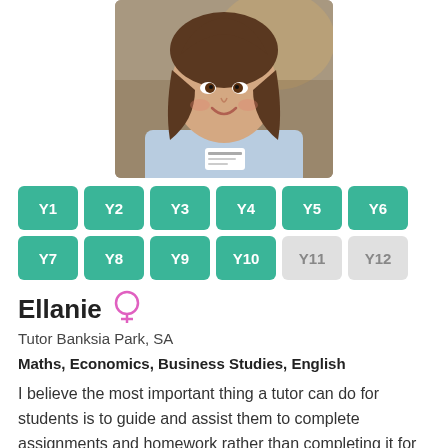[Figure (photo): Profile photo of Ellanie, a young woman wearing a light blue uniform shirt with a name badge, smiling at the camera.]
Y1 Y2 Y3 Y4 Y5 Y6 Y7 Y8 Y9 Y10 Y11 Y12
Ellanie
Tutor Banksia Park, SA
Maths, Economics, Business Studies, English
I believe the most important thing a tutor can do for students is to guide and assist them to complete assignments and homework rather than completing it for them. This will not only allow them to ask questions and